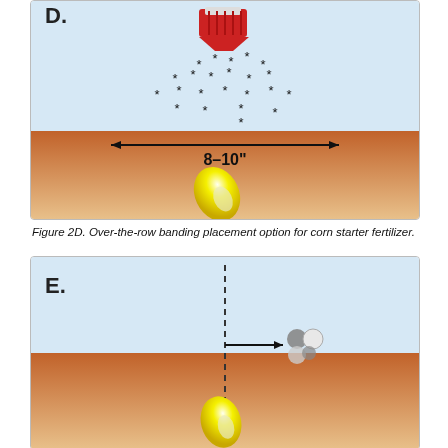[Figure (illustration): Diagram D showing over-the-row banding placement. A red fertilizer spreader at top disperses fertilizer particles (asterisks) downward onto a soil surface. A double-headed arrow labeled 8-10 inches spans the spread width. A corn seed (yellow) is shown below the soil surface.]
Figure 2D. Over-the-row banding placement option for corn starter fertilizer.
[Figure (illustration): Diagram E showing side-band placement. A dashed vertical line from soil surface down to a corn seed (yellow) below ground. A horizontal arrow points right to three fertilizer granules (grey and white circles) positioned beside the seed row at soil surface level.]